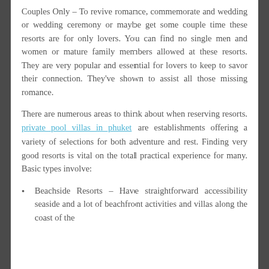Couples Only – To revive romance, commemorate and wedding or wedding ceremony or maybe get some couple time these resorts are for only lovers. You can find no single men and women or mature family members allowed at these resorts. They are very popular and essential for lovers to keep to savor their connection. They've shown to assist all those missing romance.
There are numerous areas to think about when reserving resorts. private pool villas in phuket are establishments offering a variety of selections for both adventure and rest. Finding very good resorts is vital on the total practical experience for many. Basic types involve:
Beachside Resorts – Have straightforward accessibility seaside and a lot of beachfront activities and villas along the coast of the